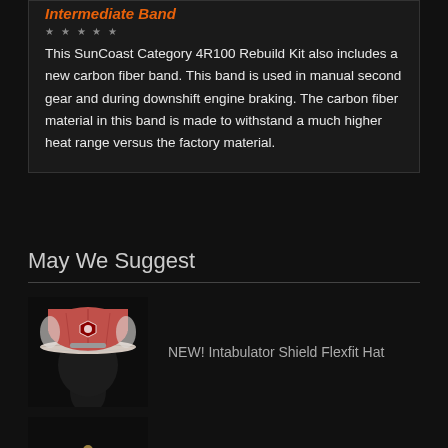Intermediate Band
★★★★★ (some reviews)
This SunCoast Category 4R100 Rebuild Kit also includes a new carbon fiber band. This band is used in manual second gear and during downshift engine braking. The carbon fiber material in this band is made to withstand a much higher heat range versus the factory material.
May We Suggest
[Figure (photo): A mannequin head wearing a red and white trucker-style Flexfit hat with a shield logo on the front.]
NEW! Intabulator Shield Flexfit Hat
[Figure (photo): Partial view of a tan/khaki hat with a SunCoast logo patch, visible from top portion only.]